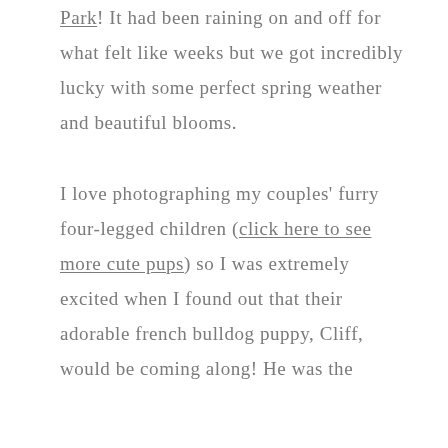Park! It had been raining on and off for what felt like weeks but we got incredibly lucky with some perfect spring weather and beautiful blooms. I love photographing my couples' furry four-legged children (click here to see more cute pups) so I was extremely excited when I found out that their adorable french bulldog puppy, Cliff, would be coming along! He was the